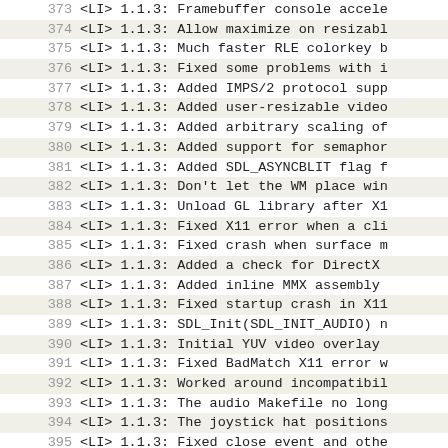373  <LI> 1.1.3: Framebuffer console accele
374  <LI> 1.1.3: Allow maximize on resizabl
375  <LI> 1.1.3: Much faster RLE colorkey b
376  <LI> 1.1.3: Fixed some problems with i
377  <LI> 1.1.3: Added IMPS/2 protocol supp
378  <LI> 1.1.3: Added user-resizable video
379  <LI> 1.1.3: Added arbitrary scaling of
380  <LI> 1.1.3: Added support for semaphor
381  <LI> 1.1.3: Added SDL_ASYNCBLIT flag f
382  <LI> 1.1.3: Don't let the WM place win
383  <LI> 1.1.3: Unload GL library after X1
384  <LI> 1.1.3: Fixed X11 error when a cli
385  <LI> 1.1.3: Fixed crash when surface m
386  <LI> 1.1.3: Added a check for DirectX
387  <LI> 1.1.3: Added inline MMX assembly
388  <LI> 1.1.3: Fixed startup crash in X11
389  <LI> 1.1.3: SDL_Init(SDL_INIT_AUDIO) n
390  <LI> 1.1.3: Initial YUV video overlay
391  <LI> 1.1.3: Fixed BadMatch X11 error w
392  <LI> 1.1.3: Worked around incompatibil
393  <LI> 1.1.3: The audio Makefile no long
394  <LI> 1.1.3: The joystick hat positions
395  <LI> 1.1.3: Fixed close event and othe